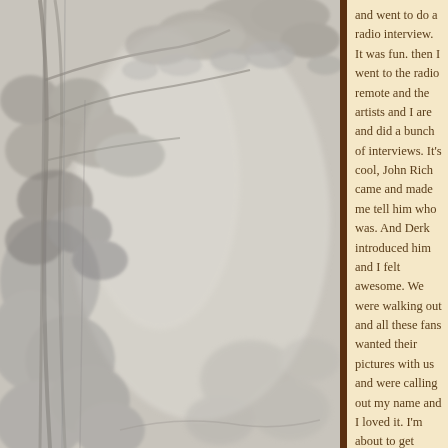[Figure (photo): Large botanical/tree mural or painting with muted grey-green tones showing leafy branches and foliage in a faded, textural style. A dark brown vertical bar separates the image from the text column on the right.]
and went to do a radio interview. It was fun. then I went to the radio remote and the artists and I are and did a bunch of interviews. It's cool, John Rich came and made me tell him who was. And Derk introduced him and I felt awesome. We were walking out and all these fans wanted their pictures with us and were calling out my name and I loved it. I'm about to get ready and do another show. Taylor Swift
top
May 11,